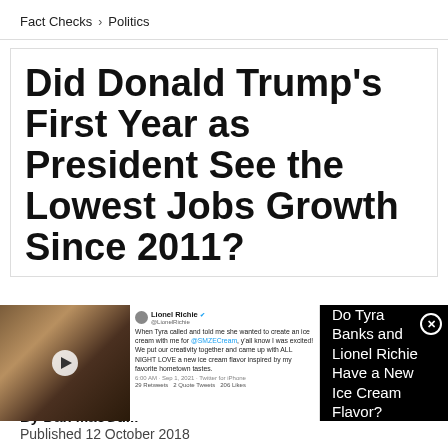Fact Checks › Politics
Did Donald Trump's First Year as President See the Lowest Jobs Growth Since 2011?
[Figure (screenshot): Advertisement overlay showing a video thumbnail of Tyra Banks and Lionel Richie, a tweet from Lionel Richie about creating an ice cream flavor, and text reading 'Do Tyra Banks and Lionel Richie Have a New Ice Cream Flavor?']
By Dan MacGuill
Published 12 October 2018